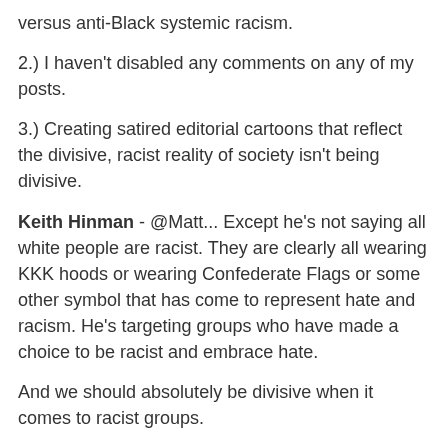versus anti-Black systemic racism.
2.) I haven't disabled any comments on any of my posts.
3.) Creating satired editorial cartoons that reflect the divisive, racist reality of society isn't being divisive.
Keith Hinman - @Matt... Except he's not saying all white people are racist. They are clearly all wearing KKK hoods or wearing Confederate Flags or some other symbol that has come to represent hate and racism. He's targeting groups who have made a choice to be racist and embrace hate.
And we should absolutely be divisive when it comes to racist groups.
Matt Ravencroft - Every strip is about how racist white people are, hoods or not. It's a blatant disparaging of an entire race, how is that not racist?
Muhammad Rasheed - You can't see the difference between targeting a specific hate-fueled ideology inside of